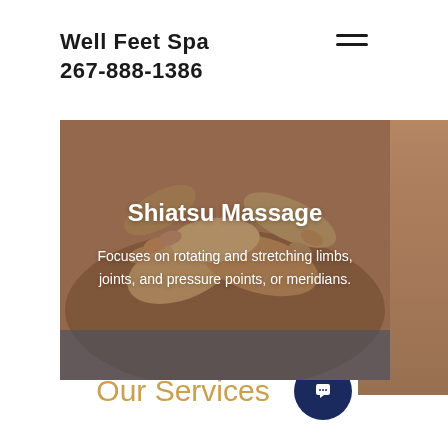Well Feet Spa
267-888-1386
[Figure (photo): Hands performing a Shiatsu massage on a person's back, showing multiple hands pressing on the back with warm earthy tones]
Shiatsu Massage
Focuses on rotating and stretching limbs, joints, and pressure points, or meridians.
Our Services